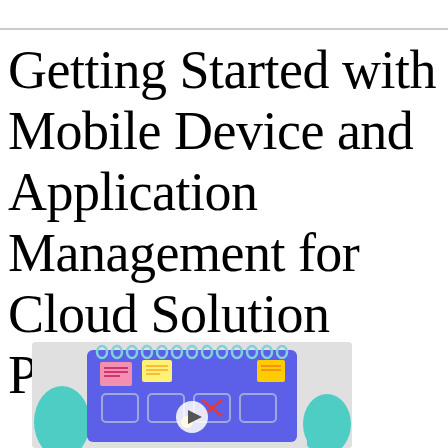Getting Started with Mobile Device and Application Management for Cloud Solution Providers
[Figure (illustration): Illustration showing a purple/blue notebook-style device with ring binders at the top, containing colorful sticky notes and UI elements. A small figure is shown interacting with the device. Teal/mint colored decorative elements on the sides. A play button (triangle) is visible, suggesting this is a video thumbnail.]